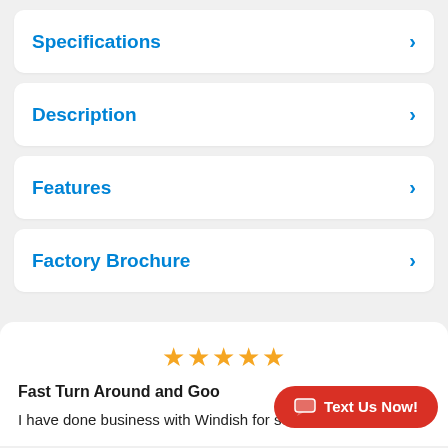Specifications
Description
Features
Factory Brochure
[Figure (other): Five gold star rating icons]
Fast Turn Around and Goo
I have done business with Windish for several
Text Us Now!